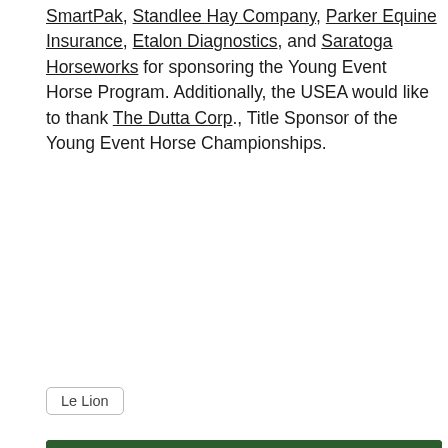SmartPak, Standlee Hay Company, Parker Equine Insurance, Etalon Diagnostics, and Saratoga Horseworks for sponsoring the Young Event Horse Program. Additionally, the USEA would like to thank The Dutta Corp., Title Sponsor of the Young Event Horse Championships.
Le Lion
[Figure (other): Parker Equine Insurance advertisement banner on dark green background showing logo, 'INSURE YOUR HO[RSE]' headline, 'Equine and Farm Insurance' and website https://equine-ins.com/]